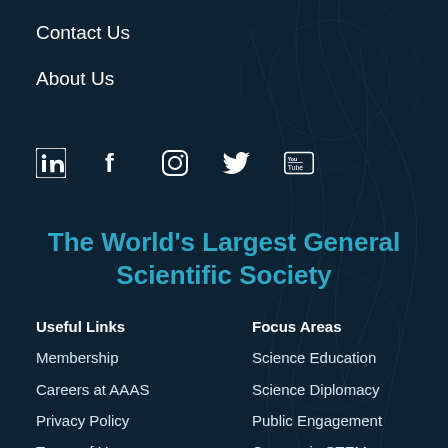Contact Us
About Us
[Figure (infographic): Social media icons: LinkedIn, Facebook, Instagram, Twitter, YouTube]
The World's Largest General Scientific Society
Useful Links
Focus Areas
Membership
Careers at AAAS
Privacy Policy
Terms of Use
Science Education
Science Diplomacy
Public Engagement
Careers in STEM
Shaping Science Policy